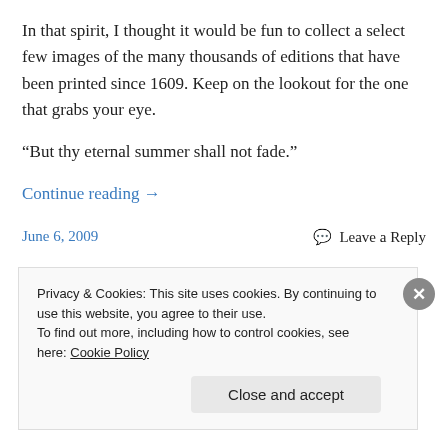In that spirit, I thought it would be fun to collect a select few images of the many thousands of editions that have been printed since 1609. Keep on the lookout for the one that grabs your eye.
“But thy eternal summer shall not fade.”
Continue reading →
June 6, 2009
Leave a Reply
Privacy & Cookies: This site uses cookies. By continuing to use this website, you agree to their use.
To find out more, including how to control cookies, see here: Cookie Policy
Close and accept